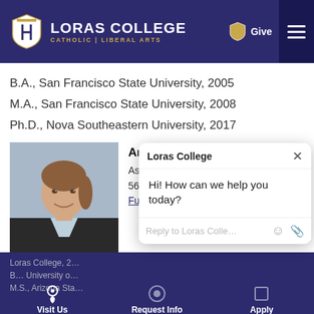Loras College — Catholic | Liberal Arts
Loras College, 2020
B.A., San Francisco State University, 2005
M.A., San Francisco State University, 2008
Ph.D., Nova Southeastern University, 2017
[Figure (photo): Professional headshot of Anne Marx Scheuerell, Ed.D. — a woman with pulled-back hair wearing a dark blazer over a light collar, smiling against a neutral background.]
Anne Marx Scheuerell, Ed.D.
Associate Profes…
563.588.7216 | An…
Full Profile
Loras College, 2…
B… University o…
M.S., Arizona Sta…
Visit Us | Request Info | Apply